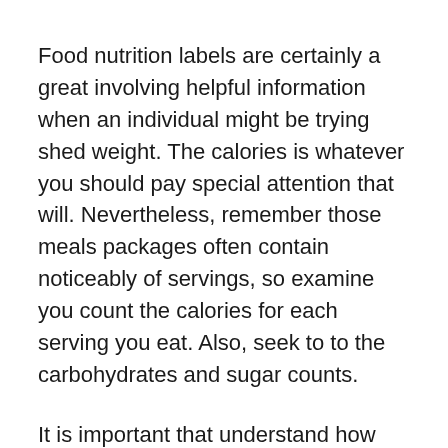Food nutrition labels are certainly a great involving helpful information when an individual might be trying shed weight. The calories is whatever you should pay special attention that will. Nevertheless, remember those meals packages often contain noticeably of servings, so examine you count the calories for each serving you eat. Also, seek to to the carbohydrates and sugar counts.
It is important that understand how adequately read food nutrition contents disclosure. Even if a food item is fat-free, it may not be effective for you. It can be loaded with sugar and calories, making it something you need stay away from. Carefully read food labels in which means you know precisely what you're .